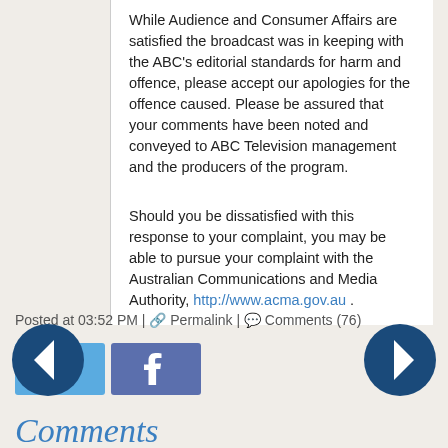While Audience and Consumer Affairs are satisfied the broadcast was in keeping with the ABC's editorial standards for harm and offence, please accept our apologies for the offence caused. Please be assured that your comments have been noted and conveyed to ABC Television management and the producers of the program.
Should you be dissatisfied with this response to your complaint, you may be able to pursue your complaint with the Australian Communications and Media Authority, http://www.acma.gov.au .
Posted at 03:52 PM | Permalink | Comments (76)
[Figure (other): Twitter and Facebook social sharing buttons]
[Figure (other): Left navigation arrow button (circle with left arrow)]
[Figure (other): Right navigation arrow button (circle with right arrow)]
Comments